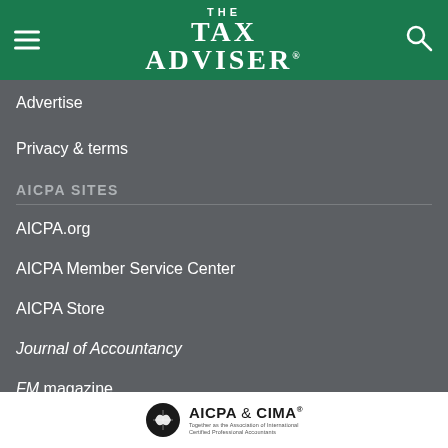THE TAX ADVISER
Advertise
Privacy & terms
AICPA SITES
AICPA.org
AICPA Member Service Center
AICPA Store
Journal of Accountancy
FM magazine
[Figure (logo): AICPA & CIMA logo with tagline: Together as the Association of International Certified Professional Accountants]